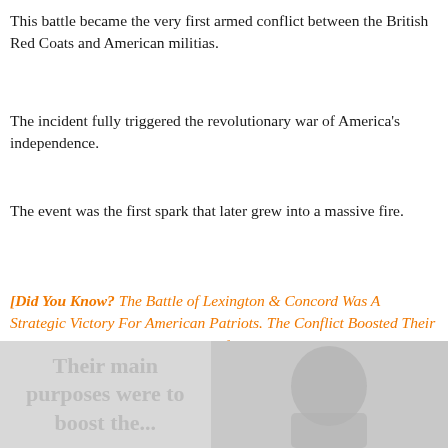This battle became the very first armed conflict between the British Red Coats and American militias.
The incident fully triggered the revolutionary war of America's independence.
The event was the first spark that later grew into a massive fire.
[Did You Know? The Battle of Lexington & Concord Was A Strategic Victory For American Patriots. The Conflict Boosted Their Morale For Future Inevitable Conflicts]
[Figure (photo): Bottom portion of a page image showing partial text 'Their main purposes were to boost the...' on the left side and a faded historical illustration on the right side.]